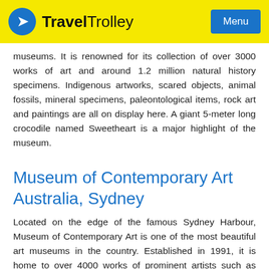Travel Trolley | Menu
museums. It is renowned for its collection of over 3000 works of art and around 1.2 million natural history specimens. Indigenous artworks, scared objects, animal fossils, mineral specimens, paleontological items, rock art and paintings are all on display here. A giant 5-meter long crocodile named Sweetheart is a major highlight of the museum.
Museum of Contemporary Art Australia, Sydney
Located on the edge of the famous Sydney Harbour, Museum of Contemporary Art is one of the most beautiful art museums in the country. Established in 1991, it is home to over 4000 works of prominent artists such as Vernon Ah Kee, Tony Albert, Simon Gill...